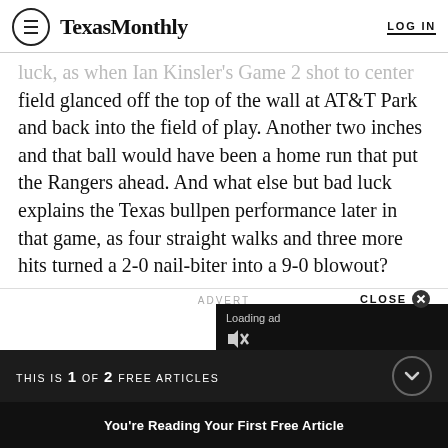Texas Monthly | LOG IN
luck, as when Ian Kinsler's Game 2 shot to center field glanced off the top of the wall at AT&T Park and back into the field of play. Another two inches and that ball would have been a home run that put the Rangers ahead. And what else but bad luck explains the Texas bullpen performance later in that game, as four straight walks and three more hits turned a 2-0 nail-biter into a 9-0 blowout?
ADVERT
CLOSE
[Figure (screenshot): Video ad loading overlay with black background, 'Loading ad' text, mute icon, and a spinner showing letter C in a box]
THIS IS 1 OF 2 FREE ARTICLES
You're Reading Your First Free Article